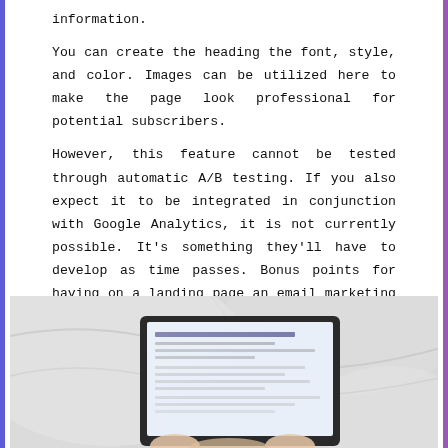information.
You can create the heading the font, style, and color. Images can be utilized here to make the page look professional for potential subscribers.
However, this feature cannot be tested through automatic A/B testing. If you also expect it to be integrated in conjunction with Google Analytics, it is not currently possible. It's something they'll have to develop as time passes. Bonus points for having on a landing page an email marketing platform, at a minimum.
[Figure (photo): A person's hands holding or using a laptop/tablet computer on a white fabric surface, viewed from above at an angle, showing the screen with content on it.]